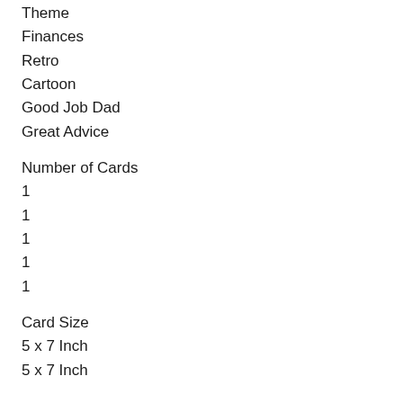Theme
Finances
Retro
Cartoon
Good Job Dad
Great Advice
Number of Cards
1
1
1
1
1
Card Size
5 x 7 Inch
5 x 7 Inch